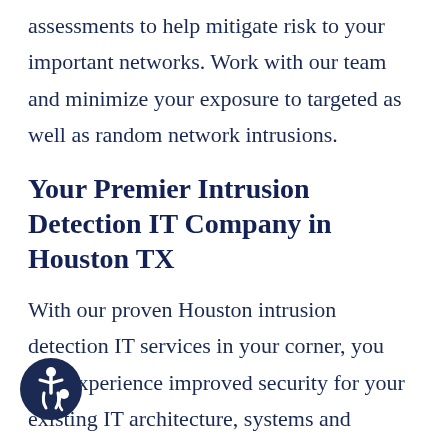assessments to help mitigate risk to your important networks. Work with our team and minimize your exposure to targeted as well as random network intrusions.
Your Premier Intrusion Detection IT Company in Houston TX
With our proven Houston intrusion detection IT services in your corner, you will experience improved security for your existing IT architecture, systems and databases. Additionally, we help